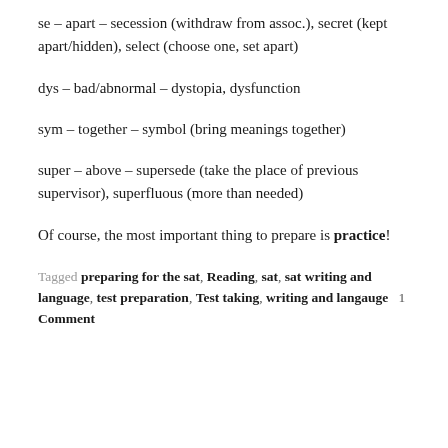se – apart – secession (withdraw from assoc.), secret (kept apart/hidden), select (choose one, set apart)
dys – bad/abnormal – dystopia, dysfunction
sym – together – symbol (bring meanings together)
super – above – supersede (take the place of previous supervisor), superfluous (more than needed)
Of course, the most important thing to prepare is practice!
Tagged preparing for the sat, Reading, sat, sat writing and language, test preparation, Test taking, writing and langauge  1 Comment